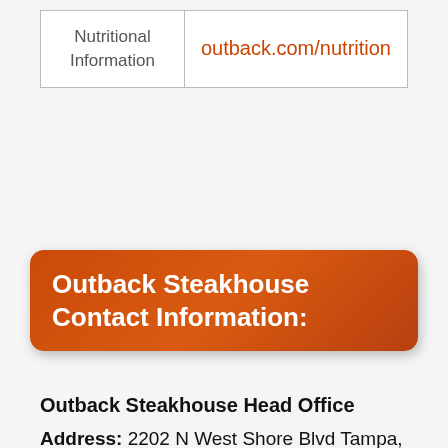| Nutritional
Information | outback.com/nutrition |
Outback Steakhouse Contact Information:
Outback Steakhouse Head Office
Address: 2202 N West Shore Blvd Tampa, FL33607
Outback Steakhouse Phone: (813) 282-1225